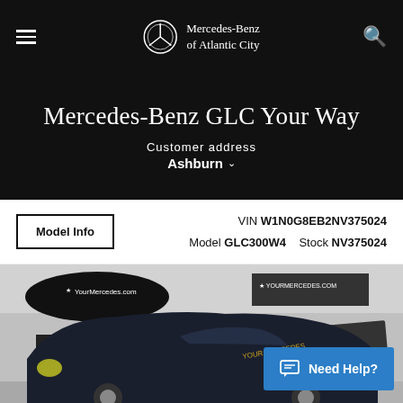Mercedes-Benz of Atlantic City
Mercedes-Benz GLC Your Way
Customer address Ashburn
Model Info   VIN W1N0G8EB2NV375024   Model GLC300W4   Stock NV375024
[Figure (photo): Mercedes-Benz GLC SUV shown from front angle in a studio/showroom setting with YourMercedes.com branding banners visible in background]
Need Help?